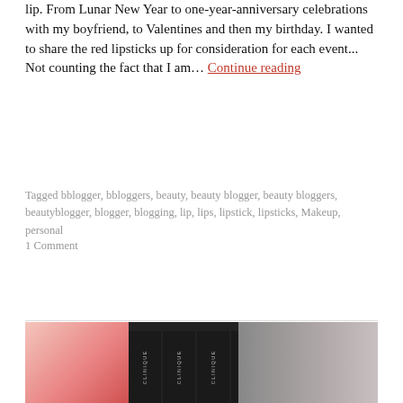lip. From Lunar New Year to one-year-anniversary celebrations with my boyfriend, to Valentines and then my birthday. I wanted to share the red lipsticks up for consideration for each event... Not counting the fact that I am... Continue reading
Tagged bblogger, bbloggers, beauty, beauty blogger, beauty bloggers, beautyblogger, blogger, blogging, lip, lips, lipstick, lipsticks, Makeup, personal
1 Comment
[Figure (photo): Photo of four Clinique lipstick tubes in black packaging arranged side by side, with a pink/red background on the left and a blurred grey/skin-tone area on the right]